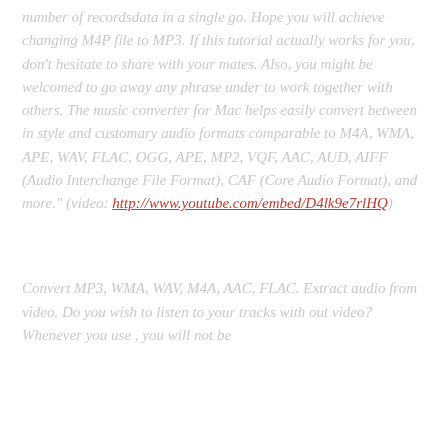number of recordsdata in a single go. Hope you will achieve changing M4P file to MP3. If this tutorial actually works for you, don't hesitate to share with your mates. Also, you might be welcomed to go away any phrase under to work together with others. The music converter for Mac helps easily convert between in style and customary audio formats comparable to M4A, WMA, APE, WAV, FLAC, OGG, APE, MP2, VQF, AAC, AUD, AIFF (Audio Interchange File Format), CAF (Core Audio Format), and more." (video: http://www.youtube.com/embed/D4lk9e7rlHQ)
Convert MP3, WMA, WAV, M4A, AAC, FLAC. Extract audio from video. Do you wish to listen to your tracks with out video? Whenever you use , you will not be